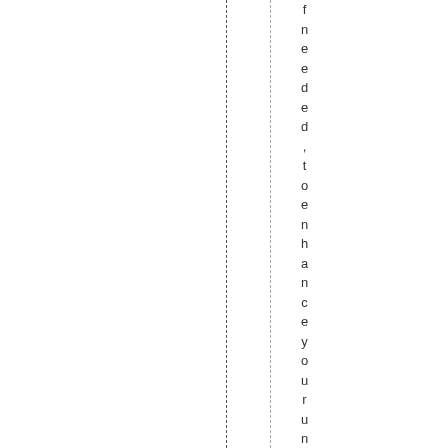f n e e d e d , t o e n h a n c e y o u r u n d e r s t a n